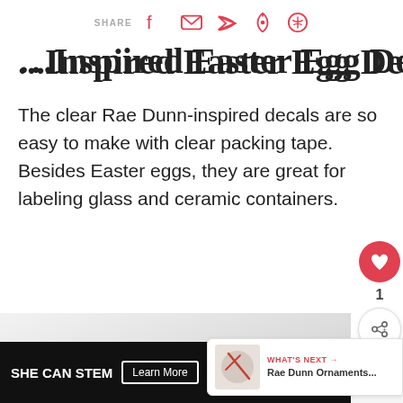SHARE [facebook] [email] [twitter] [pinterest] [whatsapp]
…Inspired Easter Egg Decals
The clear Rae Dunn-inspired decals are so easy to make with clear packing tape. Besides Easter eggs, they are great for labeling glass and ceramic containers.
[Figure (photo): Photo area showing Easter egg decals project, partially visible, light gray background with egg shapes]
WHAT'S NEXT → Rae Dunn Ornaments...
[Figure (screenshot): SHE CAN STEM advertisement banner with Learn More button and Ad Council logo]